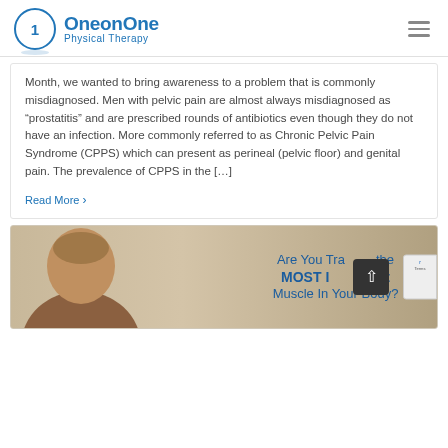OneonOne Physical Therapy
Month, we wanted to bring awareness to a problem that is commonly misdiagnosed. Men with pelvic pain are almost always misdiagnosed as “prostatitis” and are prescribed rounds of antibiotics even though they do not have an infection. More commonly referred to as Chronic Pelvic Pain Syndrome (CPPS) which can present as perineal (pelvic floor) and genital pain. The prevalence of CPPS in the [...]
Read More >
[Figure (photo): Promotional banner showing a man and text: Are You Training the MOST Important Muscle In Your Body?]